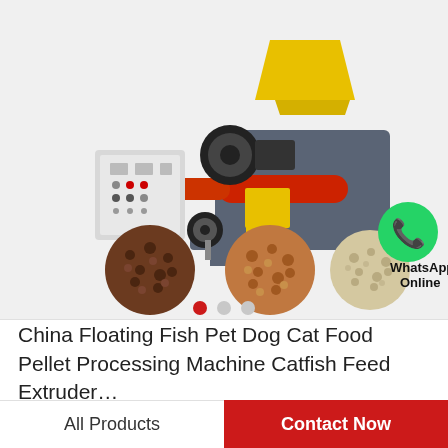[Figure (photo): Product page showing a yellow and grey fish pet food pellet extruder machine with a control panel box on the left, a red auger, and yellow hopper on top. Below the machine are three circular close-up images of different feed pellets (dark brown, medium brown, and light beige), carousel navigation dots (red, grey, grey), and a green WhatsApp Online button/icon in the bottom right of the image area.]
China Floating Fish Pet Dog Cat Food Pellet Processing Machine Catfish Feed Extruder…
All Products
Contact Now